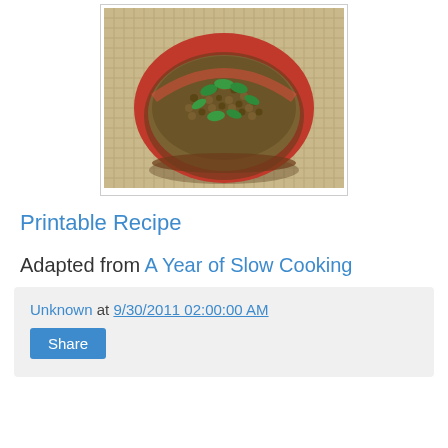[Figure (photo): A red ceramic bowl filled with lentils and greens, garnished with fresh herbs, placed on a woven mat background.]
Printable Recipe
Adapted from A Year of Slow Cooking
Unknown at 9/30/2011 02:00:00 AM
Share